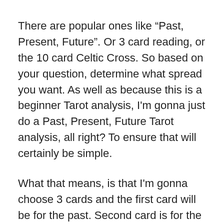There are popular ones like “Past, Present, Future”. Or 3 card reading, or the 10 card Celtic Cross. So based on your question, determine what spread you want. As well as because this is a beginner Tarot analysis, I'm gonna just do a Past, Present, Future Tarot analysis, all right? To ensure that will certainly be simple.
What that means, is that I'm gonna choose 3 cards and the first card will be for the past. Second card is for the here and now and also the 3rd card is for the future. Okay, so now that you have your inquiries, your spread prepared, what you need to do is shuffle the cards.